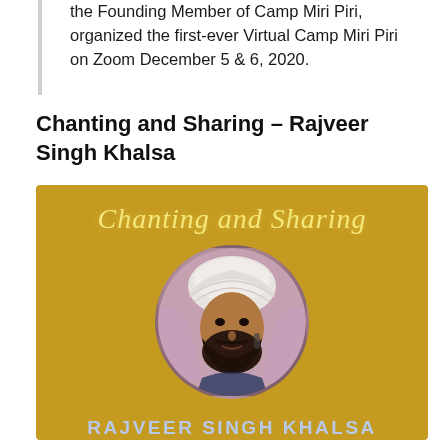the Founding Member of Camp Miri Piri, organized the first-ever Virtual Camp Miri Piri on Zoom December 5 & 6, 2020.
Chanting and Sharing – Rajveer Singh Khalsa
[Figure (photo): Promotional image with golden background showing 'Chanting and Sharing' in cursive yellow text, a circular photo portrait of Rajveer Singh Khalsa (a Sikh man with white turban and beard at a microphone), and bold text 'RAJVEER SINGH KHALSA' in light blue below.]